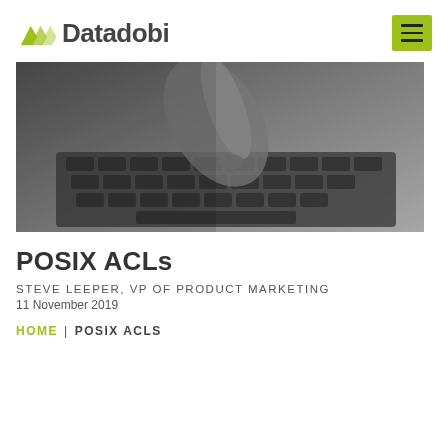Datadobi
[Figure (photo): Black and white close-up photo of a finger pressing a key on a laptop keyboard]
POSIX ACLs
STEVE LEEPER, VP OF PRODUCT MARKETING
11 November 2019
HOME | POSIX ACLS